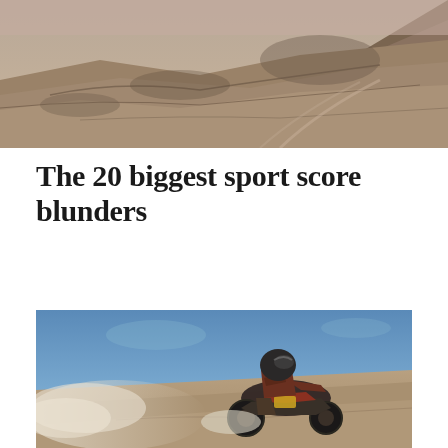[Figure (photo): Aerial/wide-angle photo of a rocky desert landscape with sandy hills and a barren terrain background, muted brown and tan tones.]
The 20 biggest sport score blunders
[Figure (photo): A motocross rider in full gear and helmet leans aggressively on a dirt bike, kicking up dust on a sandy/rocky hillside. Blue sky background with dust cloud at lower left.]